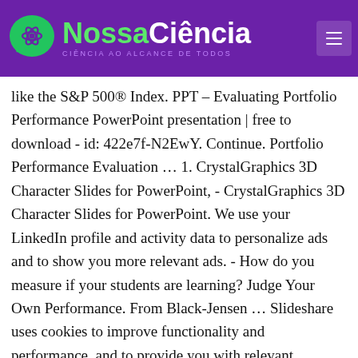[Figure (logo): NossaCiência website header with green and white logo on purple background. Logo shows a green atom/molecule icon, 'NossaCiência' text in green and white, subtitle 'CIÊNCIA AO ALCANCE DE TODOS' in purple. Hamburger menu button on right.]
like the S&P 500® Index. PPT – Evaluating Portfolio Performance PowerPoint presentation | free to download - id: 422e7f-N2EwY. Continue. Portfolio Performance Evaluation … 1. CrystalGraphics 3D Character Slides for PowerPoint, - CrystalGraphics 3D Character Slides for PowerPoint. We use your LinkedIn profile and activity data to personalize ads and to show you more relevant ads. - How do you measure if your students are learning? Judge Your Own Performance. From Black-Jensen … Slideshare uses cookies to improve functionality and performance, and to provide you with relevant advertising. After completing this reading, you should be able to: Differentiate between time-weighted and dollar-weighted returns of a portfolio and describe their appropriate uses. If so, share your PPT presentation slides online with PowerShow.com. Slideshare uses cookies to improve functionality and performance, and to provide you